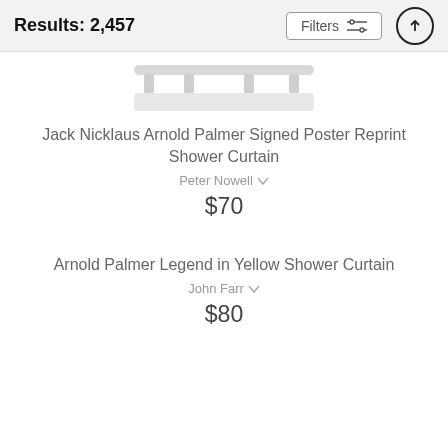Results: 2,457
[Figure (screenshot): Partial product image showing bottom of a shower curtain rod/product in light gray]
Jack Nicklaus Arnold Palmer Signed Poster Reprint Shower Curtain
Peter Nowell
$70
Arnold Palmer Legend in Yellow Shower Curtain
John Farr
$80